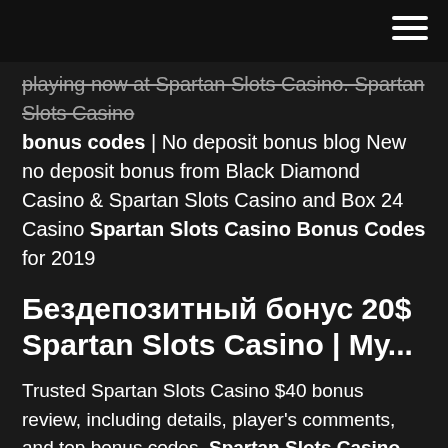playing now at Spartan Slots Casino. Spartan Slots Casino bonus codes | No deposit bonus blog New no deposit bonus from Black Diamond Casino & Spartan Slots Casino and Box 24 Casino Spartan Slots Casino Bonus Codes for 2019
Бездепозитный бонус 20$ Spartan Slots Casino | Му...
Trusted Spartan Slots Casino $40 bonus review, including details, player's comments, and top bonus codes. Spartan Slots Casino Review - Bonus Codes 2019 Some of the privileges you get to enjoy as a VIP customer are special tournament enrolment, progressive jackpots access, bigger bonus offers, special invite to tournaments, and exclusive Spartan Slots promo code for certain titles. Security of